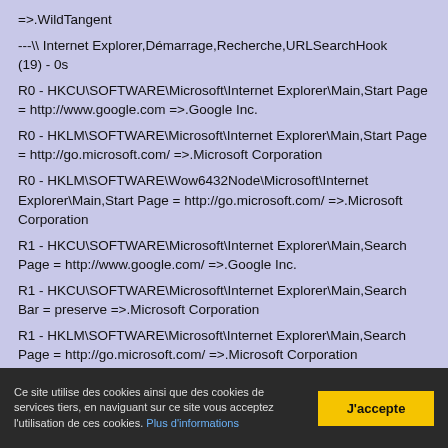=>.WildTangent

---\\ Internet Explorer,Démarrage,Recherche,URLSearchHook (19) - 0s
R0 - HKCU\SOFTWARE\Microsoft\Internet Explorer\Main,Start Page = http://www.google.com =>.Google Inc.
R0 - HKLM\SOFTWARE\Microsoft\Internet Explorer\Main,Start Page = http://go.microsoft.com/ =>.Microsoft Corporation
R0 - HKLM\SOFTWARE\Wow6432Node\Microsoft\Internet Explorer\Main,Start Page = http://go.microsoft.com/ =>.Microsoft Corporation
R1 - HKCU\SOFTWARE\Microsoft\Internet Explorer\Main,Search Page = http://www.google.com/ =>.Google Inc.
R1 - HKCU\SOFTWARE\Microsoft\Internet Explorer\Main,Search Bar = preserve =>.Microsoft Corporation
R1 - HKLM\SOFTWARE\Microsoft\Internet Explorer\Main,Search Page = http://go.microsoft.com/ =>.Microsoft Corporation
Ce site utilise des cookies ainsi que des cookies de services tiers, en naviguant sur ce site vous acceptez l'utilisation de ces cookies. Plus d'informations